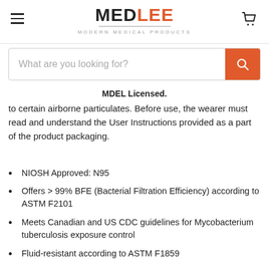MEDLEE — MODERN MEDICAL PRODUCTS
What are you looking for?
MDEL Licensed.
to certain airborne particulates. Before use, the wearer must read and understand the User Instructions provided as a part of the product packaging.
NIOSH Approved: N95
Offers > 99% BFE (Bacterial Filtration Efficiency) according to ASTM F2101
Meets Canadian and US CDC guidelines for Mycobacterium tuberculosis exposure control
Fluid-resistant according to ASTM F1859
Lightweight, comfortable protection against dust, dirt and oil-free air.